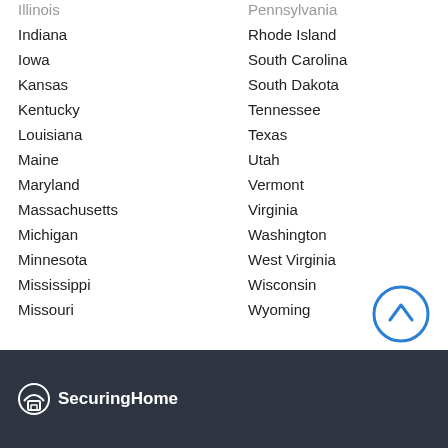Illinois
Indiana
Iowa
Kansas
Kentucky
Louisiana
Maine
Maryland
Massachusetts
Michigan
Minnesota
Mississippi
Missouri
Pennsylvania
Rhode Island
South Carolina
South Dakota
Tennessee
Texas
Utah
Vermont
Virginia
Washington
West Virginia
Wisconsin
Wyoming
SecuringHome